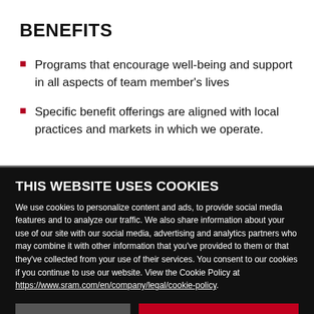BENEFITS
Programs that encourage well-being and support in all aspects of team member's lives
Specific benefit offerings are aligned with local practices and markets in which we operate.
THIS WEBSITE USES COOKIES
We use cookies to personalize content and ads, to provide social media features and to analyze our traffic. We also share information about your use of our site with our social media, advertising and analytics partners who may combine it with other information that you've provided to them or that they've collected from your use of their services. You consent to our cookies if you continue to use our website. View the Cookie Policy at https://www.sram.com/en/company/legal/cookie-policy.
Use necessary cookies only
Allow all cookies
Show details